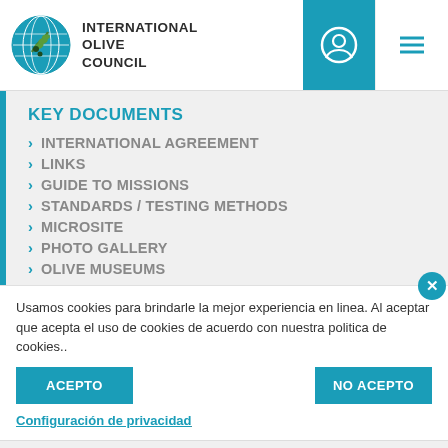[Figure (logo): International Olive Council logo with globe and olive branch]
INTERNATIONAL OLIVE COUNCIL
KEY DOCUMENTS
INTERNATIONAL AGREEMENT
LINKS
GUIDE TO MISSIONS
STANDARDS / TESTING METHODS
MICROSITE
PHOTO GALLERY
OLIVE MUSEUMS
Usamos cookies para brindarle la mejor experiencia en linea. Al aceptar que acepta el uso de cookies de acuerdo con nuestra politica de cookies..
ACEPTO
NO ACEPTO
Configuración de privacidad
FOLLOWING OLIVE FOOTPRINTS